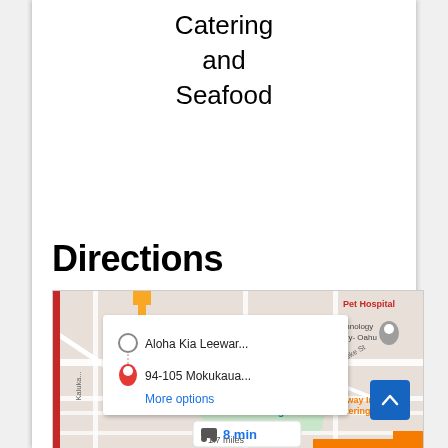Catering
and
Seafood
Directions
[Figure (screenshot): Google Maps screenshot showing directions from Aloha Kia Leewar... to 94-105 Mokukaua..., with a route popup, More options link, Hawaii's Plantation Village landmark, Highway Inn Catering, Pet Hospital, Hawaii Technology Academy-Oahu, and a travel time bubble showing 8 min / 1.7 miles with a car icon.]